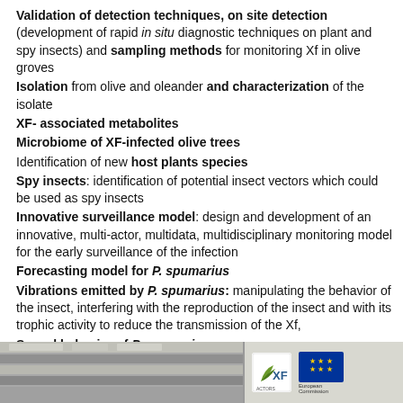Validation of detection techniques, on site detection (development of rapid in situ diagnostic techniques on plant and spy insects) and sampling methods for monitoring Xf in olive groves
Isolation from olive and oleander and characterization of the isolate
XF- associated metabolites
Microbiome of XF-infected olive trees
Identification of new host plants species
Spy insects: identification of potential insect vectors which could be used as spy insects
Innovative surveillance model: design and development of an innovative, multi-actor, multidata, multidisciplinary monitoring model for the early surveillance of the infection
Forecasting model for P. spumarius
Vibrations emitted by P. spumarius: manipulating the behavior of the insect, interfering with the reproduction of the insect and with its trophic activity to reduce the transmission of the Xf,
Sexual behavior of P. spumarius
[Figure (photo): Bottom strip showing two images: left is a photo of laboratory equipment/shelving, right shows XF ACTORS logo and European Commission logo]